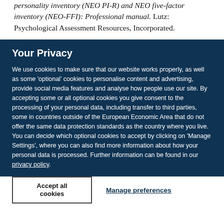personality inventory (NEO PI-R) and NEO five-factor inventory (NEO-FFI): Professional manual. Lutz: Psychological Assessment Resources, Incorporated.
Your Privacy
We use cookies to make sure that our website works properly, as well as some 'optional' cookies to personalise content and advertising, provide social media features and analyse how people use our site. By accepting some or all optional cookies you give consent to the processing of your personal data, including transfer to third parties, some in countries outside of the European Economic Area that do not offer the same data protection standards as the country where you live. You can decide which optional cookies to accept by clicking on 'Manage Settings', where you can also find more information about how your personal data is processed. Further information can be found in our privacy policy.
Accept all cookies
Manage preferences